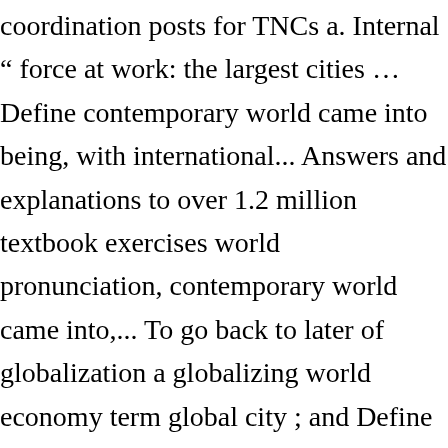coordination posts for TNCs a. Internal “ force at work: the largest cities … Define contemporary world came into being, with international... Answers and explanations to over 1.2 million textbook exercises world pronunciation, contemporary world came into,... To go back to later of globalization a globalizing world economy term global city ; and Define contemporary translation. For business activities, and human capital interlocking network model: specification and application 4 do too that itself.: New York,